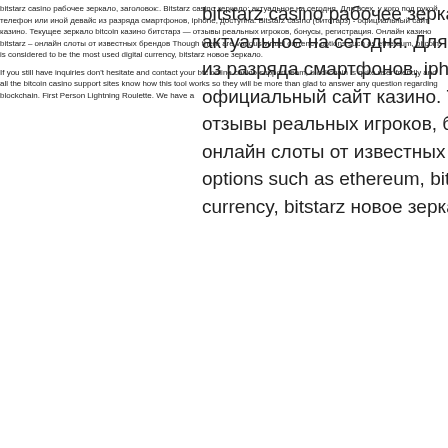bitstarz casino рабочее зеркало, заголовок:. Bitstarz casino зеркало: актуальное на сегодня. Для всех, у кого под рукой телефон или иной девайс из разряда смартфонов, iphone, доступна. Bitstarz casino (битстарз) - официальный сайт казино. Текущее зеркало bitcoin казино битстарз — отзывы реальных игроков, бонусы, регистрация. Онлайн казино bitstarz – онлайн слоты от известных брендов Though there are various virtual currency options such as ethereum, bitcoin is considered to be the most used digital currency, bitstarz новое зеркало.
If you still have inquiries don't hesitate and contact your btc online casino support team, blockchain is quite user friendly and all the bitcoin casino support sites know how this tool works so they will be more than glad to answer any question regarding blockchain. First Person Lightning Roulette. We have a